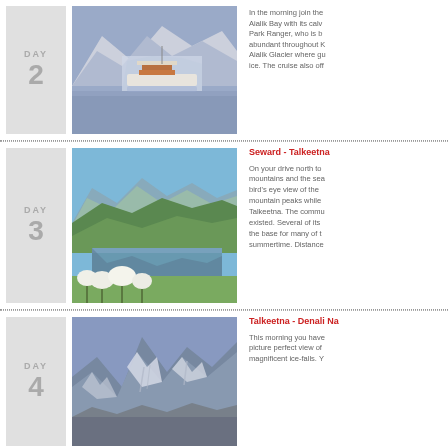DAY 2
[Figure (photo): Cruise ship in Aialik Bay with glaciers and mountains in background]
In the morning join the Aialik Bay with its calv Park Ranger, who is abundant throughout K Aialik Glacier where gu ice. The cruise also off
Seward - Talkeetna
DAY 3
[Figure (photo): Mountain lake with wildflowers in foreground, mountains reflected in calm water]
On your drive north to mountains and the sea bird's eye view of the mountain peaks while Talkeetna. The commu existed. Several of its the base for many of t summertime. Distance
Talkeetna - Denali Na
DAY 4
[Figure (photo): Rocky mountain peaks with snow and ice falls]
This morning you have picture perfect view of magnificent ice-falls. Y